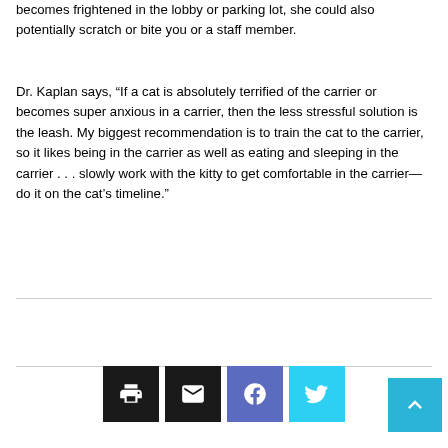becomes frightened in the lobby or parking lot, she could also potentially scratch or bite you or a staff member.
Dr. Kaplan says, “If a cat is absolutely terrified of the carrier or becomes super anxious in a carrier, then the less stressful solution is the leash. My biggest recommendation is to train the cat to the carrier, so it likes being in the carrier as well as eating and sleeping in the carrier . . . slowly work with the kitty to get comfortable in the carrier—do it on the cat’s timeline.”
[Figure (other): Social share buttons: print, email, Facebook, Twitter; and a scroll-to-top button]